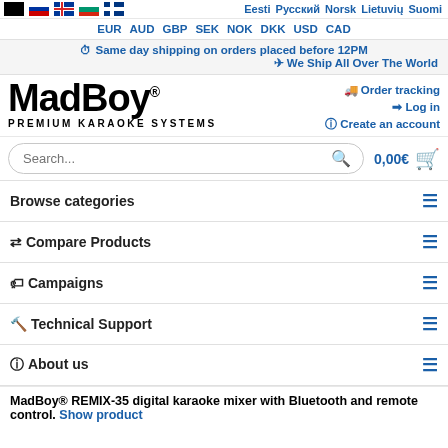Flags and language selector row: Eesti, Русский, Norsk, Lietuvių, Suomi
Currency: EUR AUD GBP SEK NOK DKK USD CAD
Same day shipping on orders placed before 12PM
We Ship All Over The World
[Figure (logo): MadBoy logo with text PREMIUM KARAOKE SYSTEMS]
Order tracking
Log in
Create an account
0,00€
Browse categories
Compare Products
Campaigns
Technical Support
About us
MadBoy® REMIX-35 digital karaoke mixer with Bluetooth and remote control. Show product